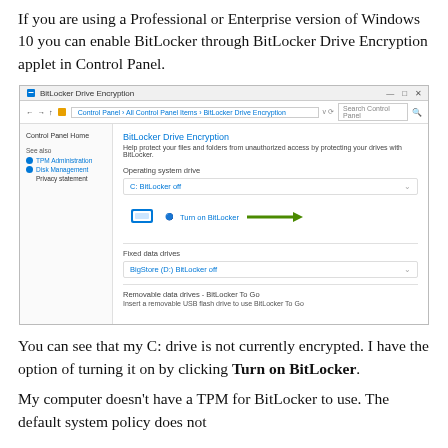If you are using a Professional or Enterprise version of Windows 10 you can enable BitLocker through BitLocker Drive Encryption applet in Control Panel.
[Figure (screenshot): Screenshot of BitLocker Drive Encryption applet in Windows 10 Control Panel. Shows C: drive with BitLocker off, a green arrow pointing to Turn on BitLocker link, Fixed data drives section showing BigStore (D:) BitLocker off, and Removable data drives - BitLocker To Go section. Left sidebar shows Control Panel Home, TPM Administration, Disk Management, Privacy statement links.]
You can see that my C: drive is not currently encrypted. I have the option of turning it on by clicking Turn on BitLocker.
My computer doesn't have a TPM for BitLocker to use. The default system policy does not